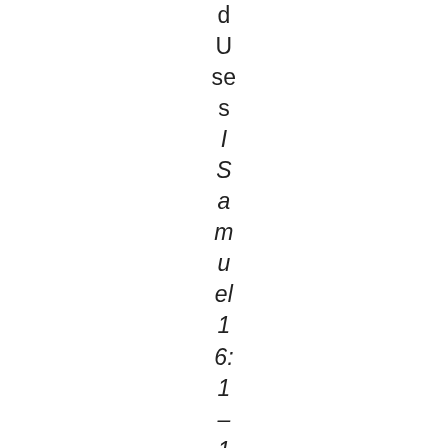d U se s
I Samuel 16:1–13
Page 2
January